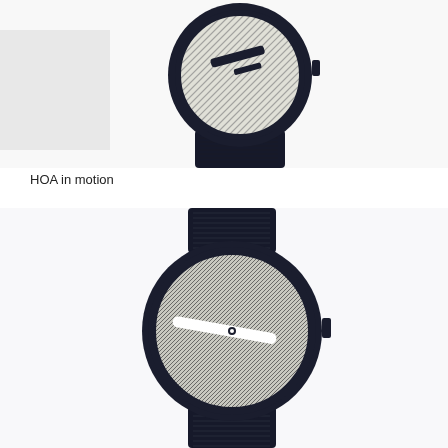[Figure (photo): Top view of a designer watch with a black case and dark nylon strap. The watch face features diagonal black and white stripes with a black rectangular hour hand visible across the striped dial. The watch is photographed from above on a light background.]
HOA in motion
[Figure (photo): Bottom view of the same designer watch with a black case and dark nylon strap. The watch face features closely spaced diagonal lines creating a moiré-like pattern. A white elongated hand is visible across the dial with a small center dot pivot. The watch is photographed from above on a white background.]